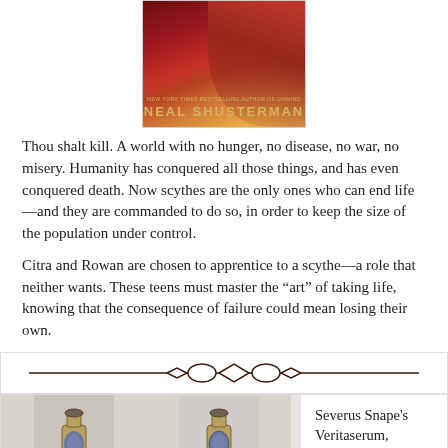[Figure (photo): Book cover of Neal Shusterman novel showing red and gold design with author name. Subtitle reads 'NEW YORK TIMES BESTSELLING AUTHOR OF UNWIND' and author name 'NEAL SHUSTERMAN' in gold letters.]
Thou shalt kill. A world with no hunger, no disease, no war, no misery. Humanity has conquered all those things, and has even conquered death. Now scythes are the only ones who can end life—and they are commanded to do so, in order to keep the size of the population under control.
Citra and Rowan are chosen to apprentice to a scythe—a role that neither wants. These teens must master the “art” of taking life, knowing that the consequence of failure could mean losing their own.
[Figure (illustration): Decorative ornamental divider with diamond and oval shapes connected by horizontal lines.]
[Figure (photo): Two side-by-side photos of small bronze/gold lantern or bottle figurines against a white wall background.]
Severus Snape's Veritaserum,

A Color Change